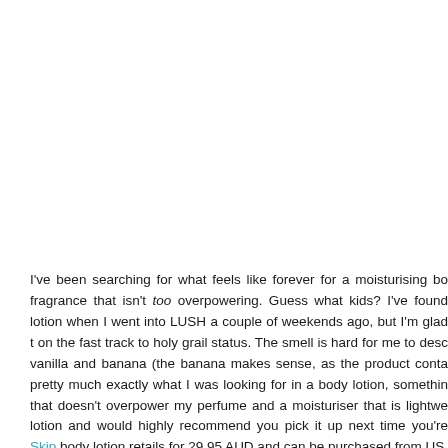I've been searching for what feels like forever for a moisturising body lotion with a fragrance that isn't too overpowering. Guess what kids? I've found it! I stumbled across this lotion when I went into LUSH a couple of weekends ago, but I'm glad that I did as it's on the fast track to holy grail status. The smell is hard for me to describe, maybe a blend of vanilla and banana (the banana makes sense, as the product contains banana juice). This is pretty much exactly what I was looking for in a body lotion, something with a light scent that doesn't overpower my perfume and a moisturiser that is lightweight. I love this lotion and would highly recommend you pick it up next time you're in LUSH. Skip body lotion retails for 29.95 AUD and can be purchased from US